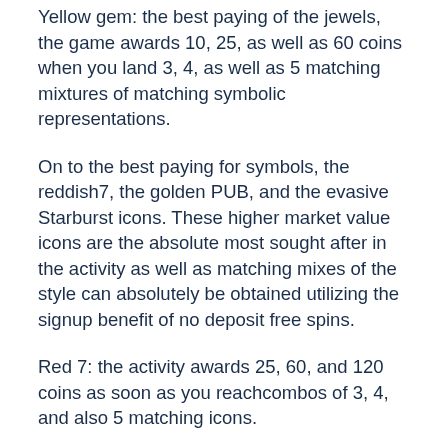Yellow gem: the best paying of the jewels, the game awards 10, 25, as well as 60 coins when you land 3, 4, as well as 5 matching mixtures of matching symbolic representations.
On to the best paying for symbols, the reddish7, the golden PUB, and the evasive Starburst icons. These higher market value icons are the absolute most sought after in the activity as well as matching mixes of the style can absolutely be obtained utilizing the signup benefit of no deposit free spins.
Red 7: the activity awards 25, 60, and 120 coins as soon as you reachcombos of 3, 4, and also 5 matching icons.
Golden BAR: the matchawards fifty, 200, and